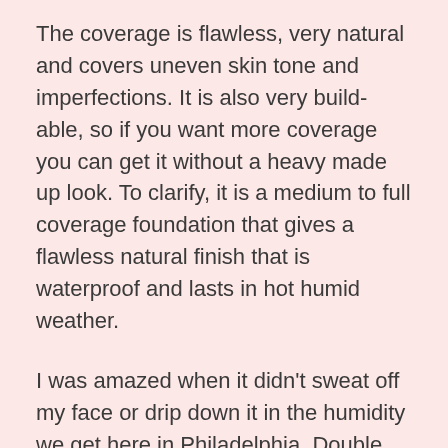The coverage is flawless, very natural and covers uneven skin tone and imperfections. It is also very build-able, so if you want more coverage you can get it without a heavy made up look. To clarify, it is a medium to full coverage foundation that gives a flawless natural finish that is waterproof and lasts in hot humid weather.
I was amazed when it didn't sweat off my face or drip down it in the humidity we get here in Philadelphia. Double wear stays on and covers all imperfections while looking natural and not heavily made up.
As we get older, we want coverage but do not want the made up look our mothers had. As Boomers we have to set a new precedence at every age. Hey, we have been doing it since our teens, some even before!